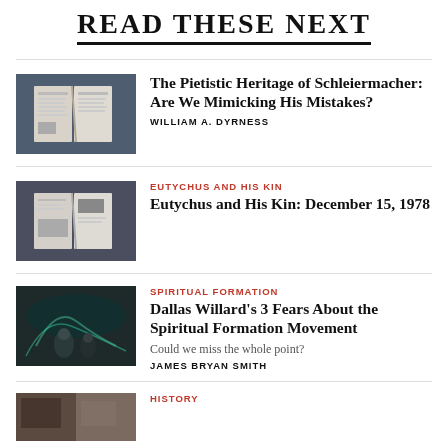READ THESE NEXT
[Figure (photo): Open magazine/book on dark background]
The Pietistic Heritage of Schleiermacher: Are We Mimicking His Mistakes?
WILLIAM A. DYRNESS
[Figure (photo): Open magazine with image on dark background]
EUTYCHUS AND HIS KIN
Eutychus and His Kin: December 15, 1978
[Figure (photo): Artistic scene with figure, aurora borealis tones]
SPIRITUAL FORMATION
Dallas Willard's 3 Fears About the Spiritual Formation Movement
Could we miss the whole point?
JAMES BRYAN SMITH
[Figure (photo): Historical black and white photo fragment]
HISTORY